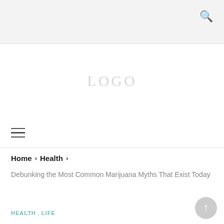🔍
[Figure (logo): Website logo watermark text in light gray]
≡ (hamburger menu icon)
Home › Health ›
Debunking the Most Common Marijuana Myths That Exist Today
HEALTH, LIFE
Debunking the M…